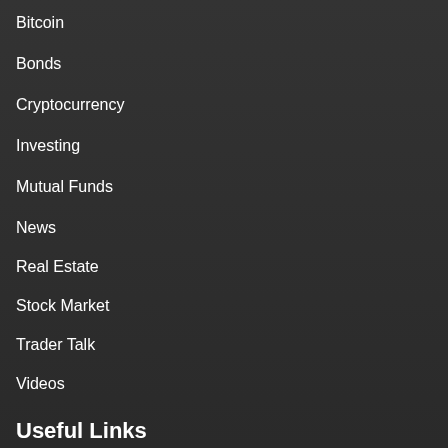Bitcoin
Bonds
Cryptocurrency
Investing
Mutual Funds
News
Real Estate
Stock Market
Trader Talk
Videos
Useful Links
DMCA / Copyright Disclaimer